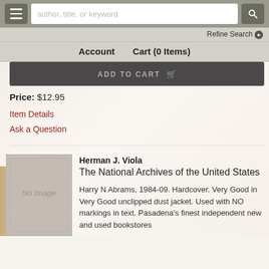author, title, or keyword [search bar]
Refine Search ❯
Account   Cart (0 Items)
ADD TO CART
Price: $12.95
Item Details
Ask a Question
[Figure (photo): No Image placeholder thumbnail for book]
Herman J. Viola
The National Archives of the United States

Harry N Abrams, 1984-09. Hardcover. Very Good in Very Good unclipped dust jacket. Used with NO markings in text. Pasadena's finest independent new and used bookstores